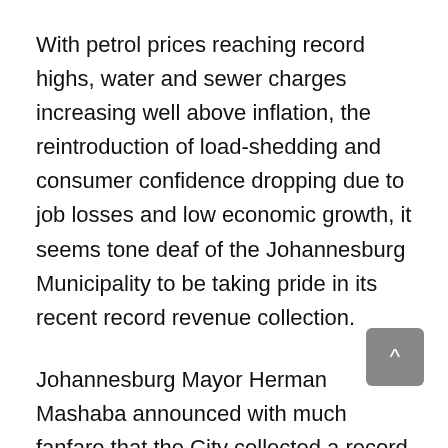With petrol prices reaching record highs, water and sewer charges increasing well above inflation, the reintroduction of load-shedding and consumer confidence dropping due to job losses and low economic growth, it seems tone deaf of the Johannesburg Municipality to be taking pride in its recent record revenue collection.
Johannesburg Mayor Herman Mashaba announced with much fanfare that the City collected a record R3.6 billion in August 2018, R400m more than budgeted revenue. He attributed this to the “sustained improvements in billing and collections” while ignoring the major impact of the updated Johannesburg property valuation roll, which came into effective on 1